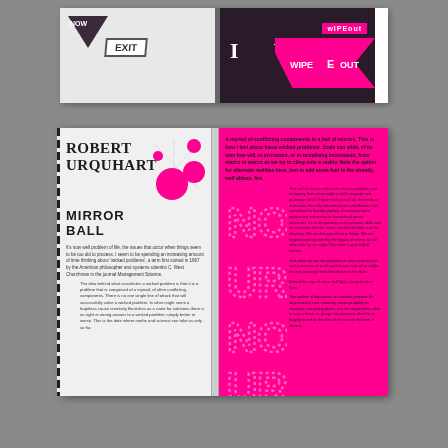[Figure (photo): Top book spread showing typographic design pages with 'NOW', 'EXIT', arrow shapes, 'I D' text, and 'WIPEOUT' badge on dark and light backgrounds with pink accents]
[Figure (photo): Bottom book spread showing 'ROBERT URQUHART MIRROR BALL' on left white page with pink circle graphics and body text, and right magenta page with article text, dotted 'NO' and 'UR' typographic elements in pink on pink background, small column text on right side]